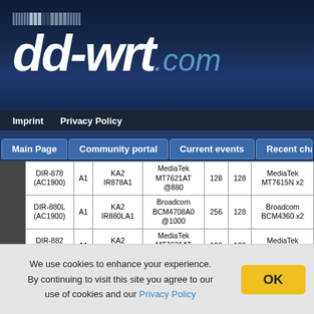[Figure (logo): dd-wrt.com website logo on dark blue background with pixel dot decoration]
Imprint   Privacy Policy
Main Page   Community portal   Current events   Recent changes
| Model | Rev | FW | CPU | RAM | Flash | WiFi |
| --- | --- | --- | --- | --- | --- | --- |
| DIR-878 (AC1900) | A1 | KA2 IR878A1 | MediaTek MT7621AT @880 | 128 | 128 | MediaTek MT7615N x2 |
| DIR-880L (AC1900) | A1 | KA2 IR880LA1 | Broadcom BCM4708A0 @1000 | 256 | 128 | Broadcom BCM4360 x2 |
| DIR-882 (AC2600) | A1 | KA2 IR882A1 | MediaTek MT7621AT @880 | 128 | 128 | MediaTek MT7615N x2 |
| DIR-885L (AC3100) | A1 | KA2 IR885LA1 | Broadcom BCM4709C0 | 512 | 128 & | Broadcom BCM4366 x2 |
We use cookies to enhance your experience. By continuing to visit this site you agree to our use of cookies and our Privacy Policy